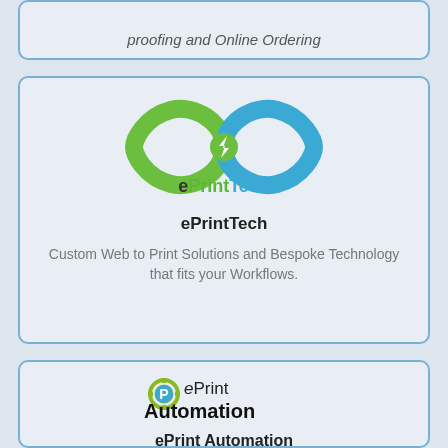proofing and Online Ordering
[Figure (logo): ePrintTech infinity loop logo in green and blue with bolt symbol]
ePrintTech
Custom Web to Print Solutions and Bespoke Technology that fits your Workflows.
[Figure (logo): ePrint Automation logo with gear-P symbol]
ePrint Automation
Training and Marketing for Web 2 Print automation